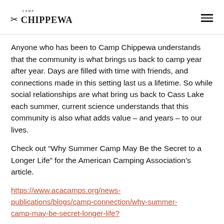Camp Chippewa
Anyone who has been to Camp Chippewa understands that the community is what brings us back to camp year after year. Days are filled with time with friends, and connections made in this setting last us a lifetime. So while social relationships are what bring us back to Cass Lake each summer, current science understands that this community is also what adds value – and years – to our lives.
Check out “Why Summer Camp May Be the Secret to a Longer Life” for the American Camping Association’s article.
https://www.acacamps.org/news-publications/blogs/camp-connection/why-summer-camp-may-be-secret-longer-life?